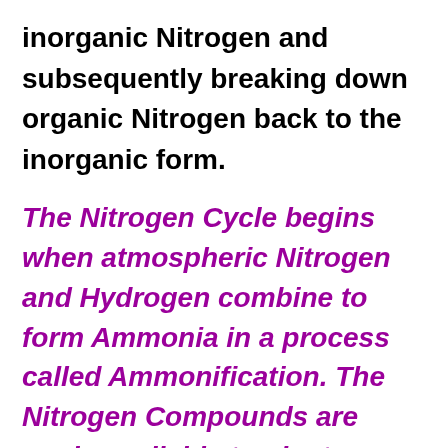inorganic Nitrogen and subsequently breaking down organic Nitrogen back to the inorganic form.
The Nitrogen Cycle begins when atmospheric Nitrogen and Hydrogen combine to form Ammonia in a process called Ammonification. The Nitrogen Compounds are made available to plants which combine them with the products of Photosynthesis to form Amino Acids, which are the basic components of Plant